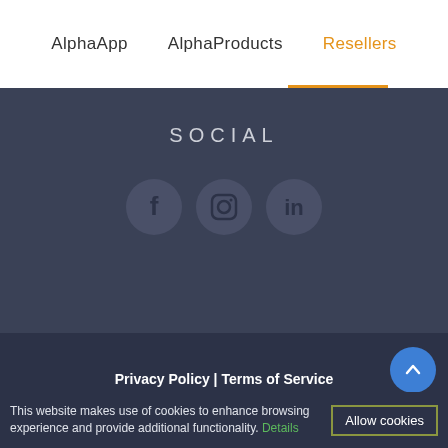AlphaApp  AlphaProducts  Resellers
SOCIAL
[Figure (illustration): Three circular social media icons in a row: Facebook (f), Instagram (camera icon), LinkedIn (in), all on a dark blue-grey background.]
Privacy Policy | Terms of Service
© 2015 - 2022 AlphaTech | All rights reserved - Powered by ke™ and ke Solutions
This website makes use of cookies to enhance browsing experience and provide additional functionality. Details
Allow cookies